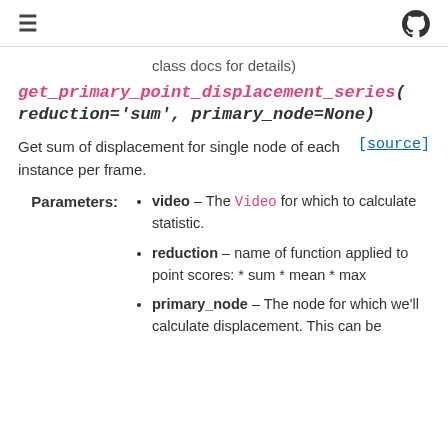≡  [github icon]
class docs for details)
get_primary_point_displacement_series(reduction='sum', primary_node=None)
Get sum of displacement for single node of each instance per frame.
[source]
video – The Video for which to calculate statistic.
reduction – name of function applied to point scores: * sum * mean * max
primary_node – The node for which we'll calculate displacement. This can be